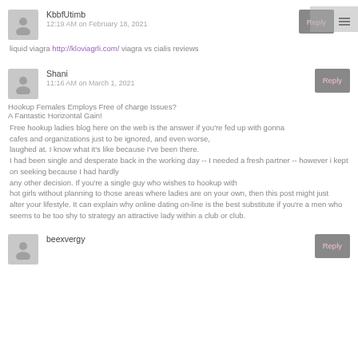KbbfUtimb
12:19 AM on February 18, 2021
liquid viagra http://kloviagrli.com/ viagra vs cialis reviews
Shani
11:16 AM on March 1, 2021
Hookup Females Employs Free of charge Issues?
A Fantastic Horizontal Gain!
Free hookup ladies blog here on the web is the answer if you're fed up with gonna
cafes and organizations just to be ignored, and even worse,
laughed at. I know what it's like because I've been there.
I had been single and desperate back in the working day -- I needed a fresh partner -- however i kept on seeking because I had hardly
any other decision. If you're a single guy who wishes to hookup with
hot girls without planning to those areas where ladies are on your own, then this post might just
alter your lifestyle. It can explain why online dating on-line is the best substitute if you're a men who seems to be too shy to strategy an attractive lady within a club or club.
beexvergy